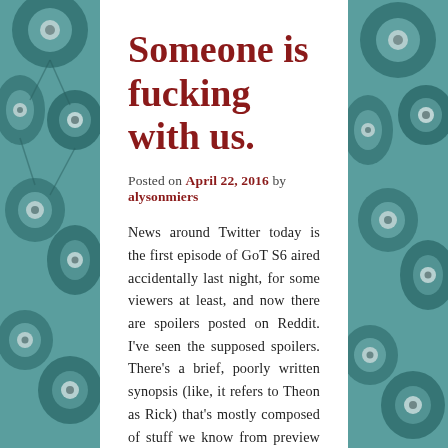Someone is fucking with us.
Posted on April 22, 2016 by alysonmiers
News around Twitter today is the first episode of GoT S6 aired accidentally last night, for some viewers at least, and now there are spoilers posted on Reddit. I've seen the supposed spoilers. There's a brief, poorly written synopsis (like, it refers to Theon as Rick) that's mostly composed of stuff we know from preview clips, interviews, and entirely inevitable follow-ups to the Season 5 cliffhangers. No mention of the Boltons. No mention of anything happening in Meereen. The new information is logistically questionable at best.
Continue reading →